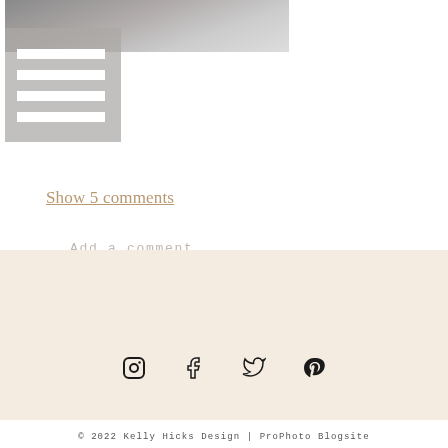[Figure (photo): Top portion of a fashion/lifestyle blog photo showing a person, partially cropped, with a gray overlay menu icon]
Show 5 comments
Add a comment...
« FALL CRAVINGS
A NEW WEEK »
[Figure (infographic): Social media icons: Instagram, Facebook, Twitter, Pinterest]
© 2022 Kelly Hicks Design | ProPhoto Blogsite